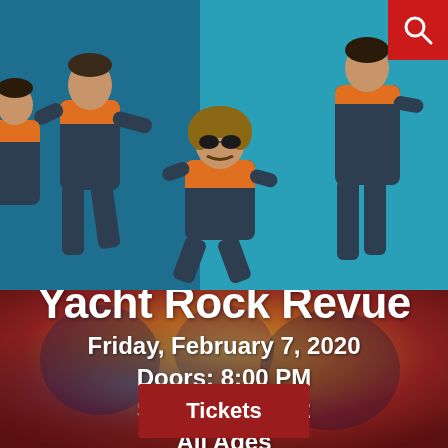[Figure (photo): Band photo showing three musicians in navy/dark teal jumpsuits with orange accents, posed against a blue/teal background. The center person is crouching.]
Yacht Rock Revue
Friday, February 7, 2020
Doors: 8:00 PM
$17 // $20 // $42
All Ages
Tickets